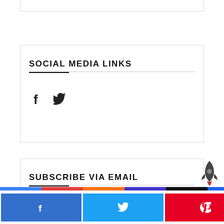SOCIAL MEDIA LINKS
[Figure (illustration): Social media icons: Facebook (f) and Twitter (bird icon)]
SUBSCRIBE VIA EMAIL
Enter your email address:
[Figure (infographic): Bottom share bar with Facebook, Twitter, Pinterest share buttons and a share count of 0 SHARES, plus a color strip and rocket icon]